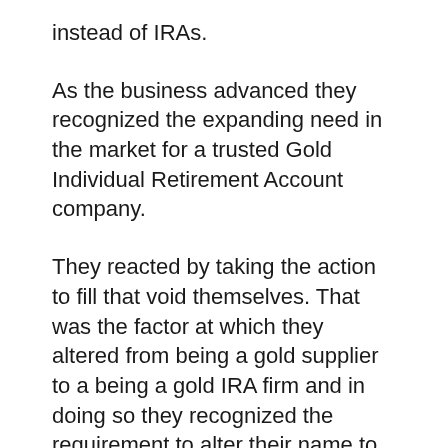instead of IRAs.
As the business advanced they recognized the expanding need in the market for a trusted Gold Individual Retirement Account company.
They reacted by taking the action to fill that void themselves. That was the factor at which they altered from being a gold supplier to a being a gold IRA firm and in doing so they recognized the requirement to alter their name to something that represented extra the service they were providing.
Thus they altered their name, to Heritage Gold Team. That was short lived nevertheless because they soon discovered that a firm